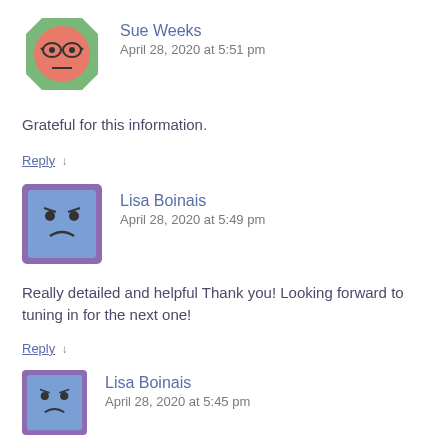[Figure (illustration): Avatar image of Sue Weeks - cartoon face on octagon/stop-sign shaped pink/salmon background with glasses]
Sue Weeks
April 28, 2020 at 5:51 pm
Grateful for this information.
Reply ↓
[Figure (illustration): Avatar image of Lisa Boinais - cartoon sad face on blue square background with purple border]
Lisa Boinais
April 28, 2020 at 5:49 pm
Really detailed and helpful Thank you! Looking forward to tuning in for the next one!
Reply ↓
[Figure (illustration): Avatar image of Lisa Boinais - cartoon sad face on blue square background with purple border]
Lisa Boinais
April 28, 2020 at 5:45 pm